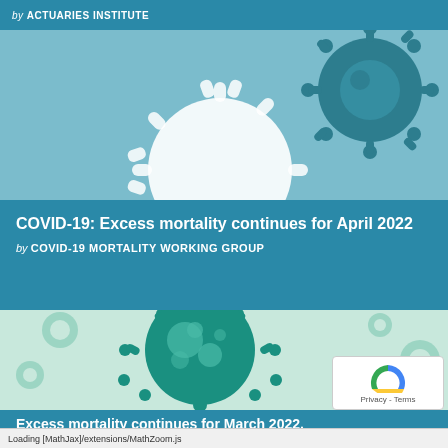by ACTUARIES INSTITUTE
[Figure (illustration): Two coronavirus/COVID-19 virus illustrations — one white/outline and one teal/dark — on a light teal background]
COVID-19: Excess mortality continues for April 2022
by COVID-19 MORTALITY WORKING GROUP
[Figure (illustration): Teal coronavirus/COVID-19 virus illustrations on a light mint/green background]
Excess mortality continues for March 2022,
Loading [MathJax]/extensions/MathZoom.js